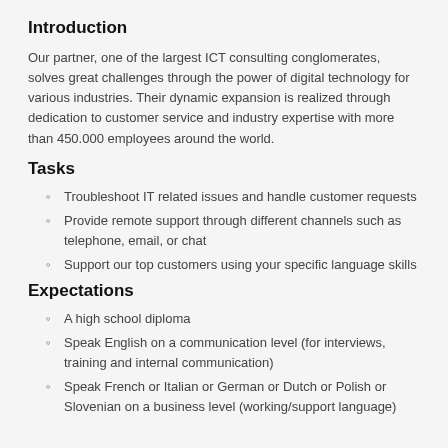Introduction
Our partner, one of the largest ICT consulting conglomerates, solves great challenges through the power of digital technology for various industries. Their dynamic expansion is realized through dedication to customer service and industry expertise with more than 450.000 employees around the world.
Tasks
Troubleshoot IT related issues and handle customer requests
Provide remote support through different channels such as telephone, email, or chat
Support our top customers using your specific language skills
Expectations
A high school diploma
Speak English on a communication level (for interviews, training and internal communication)
Speak French or Italian or German or Dutch or Polish or Slovenian on a business level (working/support language)